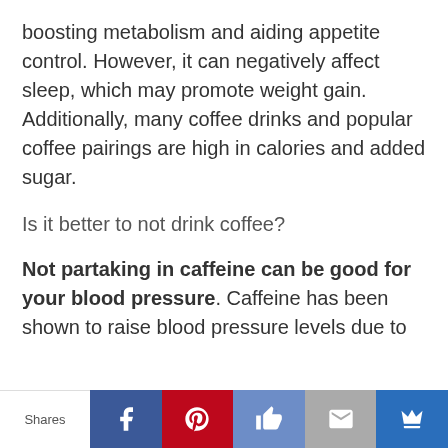boosting metabolism and aiding appetite control. However, it can negatively affect sleep, which may promote weight gain. Additionally, many coffee drinks and popular coffee pairings are high in calories and added sugar.
Is it better to not drink coffee?
Not partaking in caffeine can be good for your blood pressure. Caffeine has been shown to raise blood pressure levels due to
Shares [Facebook] [Pinterest] [Like] [Email] [Crown]